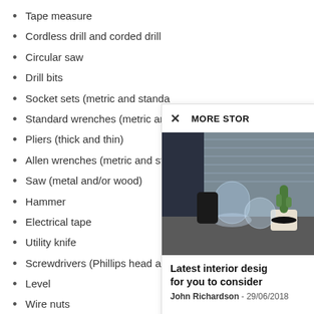Tape measure
Cordless drill and corded drill
Circular saw
Drill bits
Socket sets (metric and standard)
Standard wrenches (metric and standard)
Pliers (thick and thin)
Allen wrenches (metric and standard)
Saw (metal and/or wood)
Hammer
Electrical tape
Utility knife
Screwdrivers (Phillips head and standard)
Level
Wire nuts
Wood Clamps
Gloves
Various fasteners (washers, bolts, nails, screws, tacks)
[Figure (screenshot): A popup overlay showing MORE STORIES header with a close X button, a photo of interior design items (vases, cactus plant on a surface with window blinds in background), article title 'Latest interior design for you to consider', author John Richardson, date 29/06/2018]